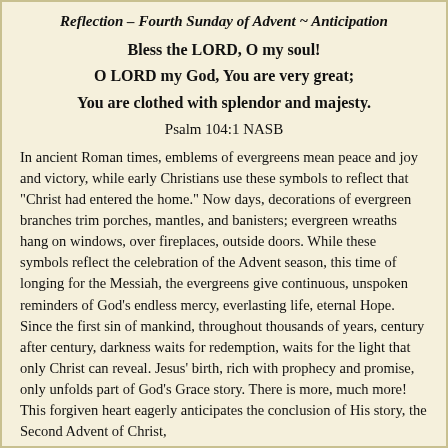Reflection – Fourth Sunday of Advent ~ Anticipation
Bless the LORD, O my soul!
O LORD my God, You are very great;
You are clothed with splendor and majesty.
Psalm 104:1 NASB
In ancient Roman times, emblems of evergreens mean peace and joy and victory, while early Christians use these symbols to reflect that "Christ had entered the home." Now days, decorations of evergreen branches trim porches, mantles, and banisters; evergreen wreaths hang on windows, over fireplaces, outside doors. While these symbols reflect the celebration of the Advent season, this time of longing for the Messiah, the evergreens give continuous, unspoken reminders of God's endless mercy, everlasting life, eternal Hope. Since the first sin of mankind, throughout thousands of years, century after century, darkness waits for redemption, waits for the light that only Christ can reveal. Jesus' birth, rich with prophecy and promise, only unfolds part of God's Grace story. There is more, much more! This forgiven heart eagerly anticipates the conclusion of His story, the Second Advent of Christ,